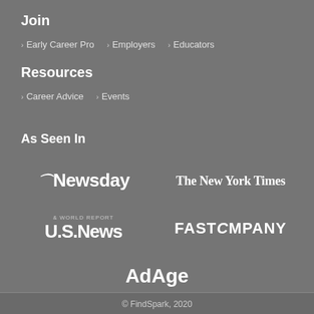Join
> Early Career Pro   > Employers   > Educators
Resources
> Career Advice   > Events
As Seen In
[Figure (logo): Logos of media outlets: Newsday, The New York Times, U.S.News & World Report, Fast Company, AdAge]
© FindSpark, 2020